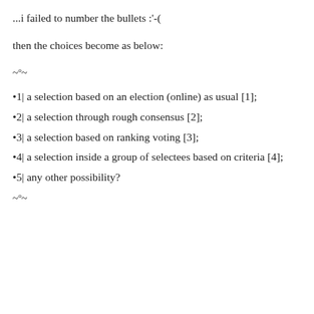...i failed to number the bullets :'-(
then the choices become as below:
~°~
•1| a selection based on an election (online) as usual [1];
•2| a selection through rough consensus [2];
•3| a selection based on ranking voting [3];
•4| a selection inside a group of selectees based on criteria [4];
•5| any other possibility?
~°~